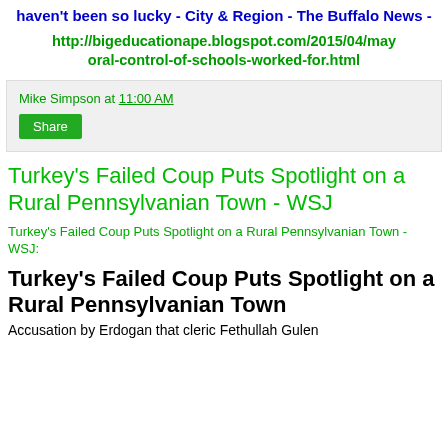haven't been so lucky - City & Region - The Buffalo News - http://bigeducationape.blogspot.com/2015/04/mayoral-control-of-schools-worked-for.html
Mike Simpson at 11:00 AM
Share
Turkey's Failed Coup Puts Spotlight on a Rural Pennsylvanian Town - WSJ
Turkey's Failed Coup Puts Spotlight on a Rural Pennsylvanian Town - WSJ:
Turkey's Failed Coup Puts Spotlight on a Rural Pennsylvanian Town
Accusation by Erdogan that cleric Fethullah Gulen